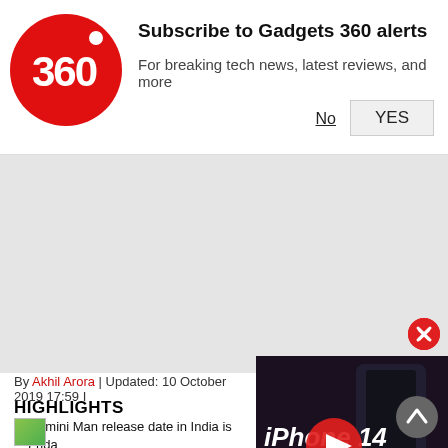[Figure (logo): Gadgets 360 red circular logo with '360' text]
Subscribe to Gadgets 360 alerts
For breaking tech news, latest reviews, and more
No
YES
[Figure (other): Gray advertisement area]
By Akhil Arora | Updated: 10 October 2019 17:59 I
HIGHLIGHTS
Gemini Man release date in India is Frida
Smith stars as an aging assassin and a y
Life of Pi's Ang Lee is the director on Gemini Man
[Figure (screenshot): iPhone 14 video thumbnail with play button and 'REVIEW ROUNDUP' text overlay]